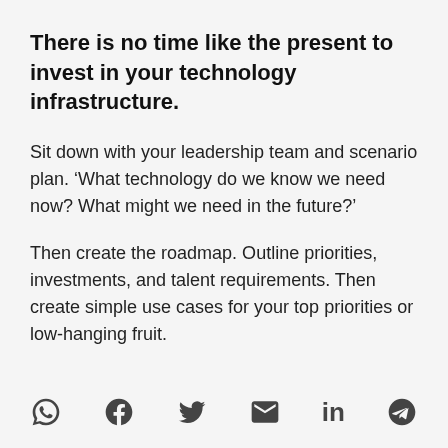There is no time like the present to invest in your technology infrastructure.
Sit down with your leadership team and scenario plan. ‘What technology do we know we need now? What might we need in the future?’
Then create the roadmap. Outline priorities, investments, and talent requirements. Then create simple use cases for your top priorities or low-hanging fruit.
[Figure (infographic): Social media sharing icons: WhatsApp, Facebook, Twitter, Email, LinkedIn, Telegram]